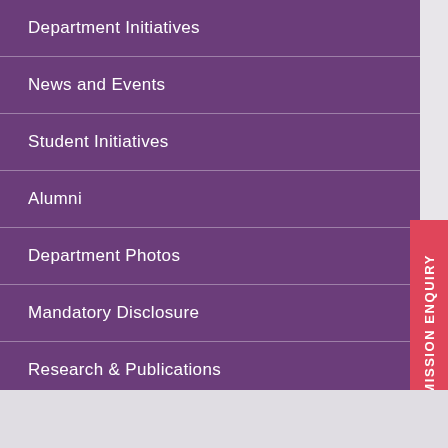Department Initiatives
News and Events
Student Initiatives
Alumni
Department Photos
Mandatory Disclosure
Research & Publications
Archives
Department Videos
ADMISSION ENQUIRY